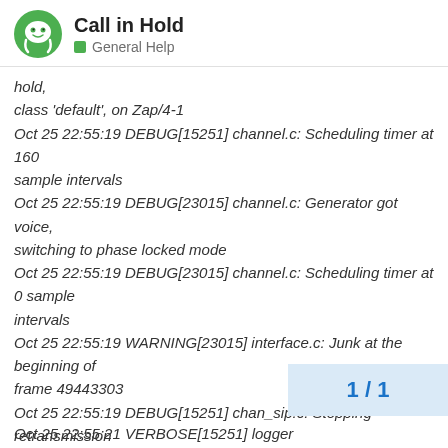Call in Hold — General Help
hold,
class 'default', on Zap/4-1
Oct 25 22:55:19 DEBUG[15251] channel.c: Scheduling timer at 160
sample intervals
Oct 25 22:55:19 DEBUG[23015] channel.c: Generator got voice, switching to phase locked mode
Oct 25 22:55:19 DEBUG[23015] channel.c: Scheduling timer at 0 sample
intervals
Oct 25 22:55:19 WARNING[23015] interface.c: Junk at the beginning of
frame 49443303
Oct 25 22:55:19 DEBUG[15251] chan_sip.c: Stopping retransmission
on '1e3858fb16bf72e666 4d894b7e763eb3@ 192.168.236. 12'
of Response 4:
Match Found
Oct 25 22:55:21 VERBOSE[15251] logger